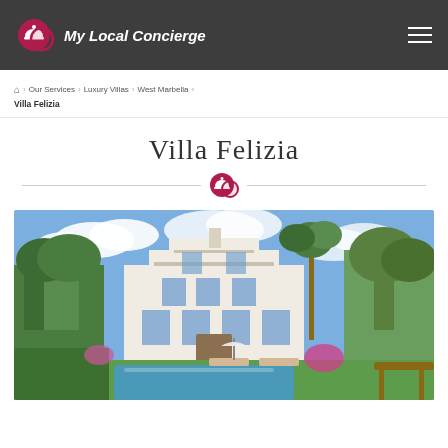My Local Concierge
Home > Our Services > Luxury Villas > West Marbella > Villa Felizia
Villa Felizia
[Figure (photo): Exterior photo of Villa Felizia showing a white multi-story Mediterranean villa with balconies, surrounded by lush green trees, palm trees, flowering plants, and a swimming pool in the foreground with sun loungers and an umbrella.]